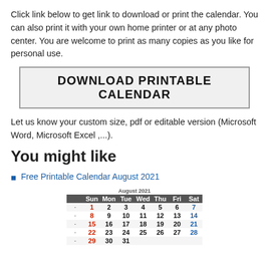Click link below to get link to download or print the calendar. You can also print it with your own home printer or at any photo center. You are welcome to print as many copies as you like for personal use.
DOWNLOAD PRINTABLE CALENDAR
Let us know your custom size, pdf or editable version (Microsoft Word, Microsoft Excel ,...).
You might like
Free Printable Calendar August 2021
[Figure (other): August 2021 calendar thumbnail showing a hand-written style calendar with days of the week and dates 1-31, with Sundays in red and Saturdays in blue.]